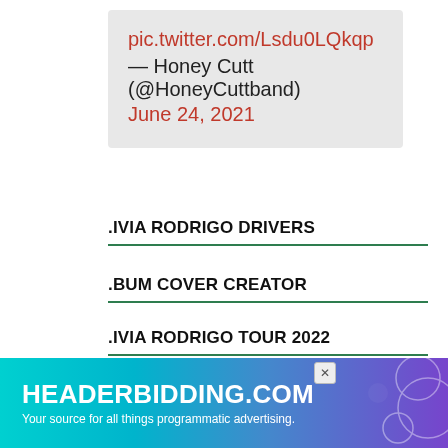pic.twitter.com/Lsdu0LQkqp
— Honey Cutt (@HoneyCuttband)
June 24, 2021
LIVIA RODRIGO DRIVERS
BUM COVER CREATOR
LIVIA RODRIGO TOUR 2022
LIVIA RODRIGO SONGS
LIVIA RODRIGO DEJA
[Figure (screenshot): HEADERBIDDING.COM advertisement banner with tagline 'Your source for all things programmatic advertising.']